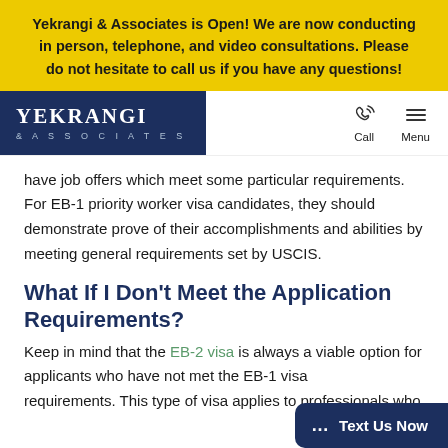Yekrangi & Associates is Open! We are now conducting in person, telephone, and video consultations. Please do not hesitate to call us if you have any questions!
[Figure (logo): Yekrangi & Associates law firm logo on dark navy background, with phone call icon and hamburger menu icon labeled Call and Menu]
have job offers which meet some particular requirements. For EB-1 priority worker visa candidates, they should demonstrate prove of their accomplishments and abilities by meeting general requirements set by USCIS.
What If I Don't Meet the Application Requirements?
Keep in mind that the EB-2 visa is always a viable option for applicants who have not met the EB-1 visa requirements. This type of visa applies to professionals who